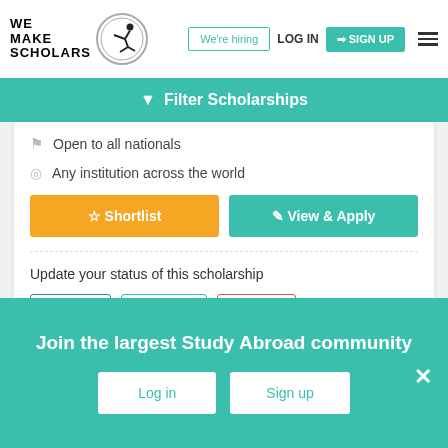[Figure (logo): We Make Scholars logo with stick figure acrobat inside a circle]
We're hiring
LOG IN
SIGN UP
Filter Scholarships
Open to all nationals
Any institution across the world
Shortlist
View & Apply
Update your status of this scholarship
Applied
Admitted
Denied
Join the largest Study Abroad community
Log in
Sign up